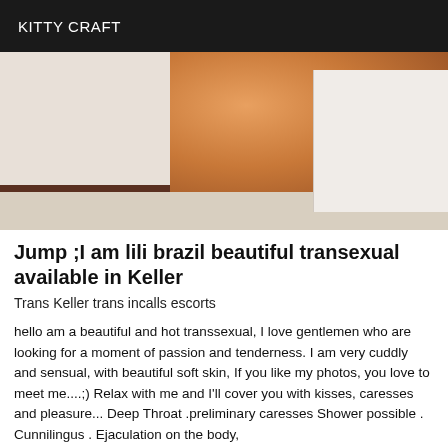KITTY CRAFT
[Figure (photo): Close-up photo of legs of a person standing near a bed and wall]
Jump ;I am lili brazil beautiful transexual available in Keller
Trans Keller trans incalls escorts
hello am a beautiful and hot transsexual, I love gentlemen who are looking for a moment of passion and tenderness. I am very cuddly and sensual, with beautiful soft skin, If you like my photos, you love to meet me....;) Relax with me and I'll cover you with kisses, caresses and pleasure... Deep Throat .preliminary caresses Shower possible . Cunnilingus . Ejaculation on the body,